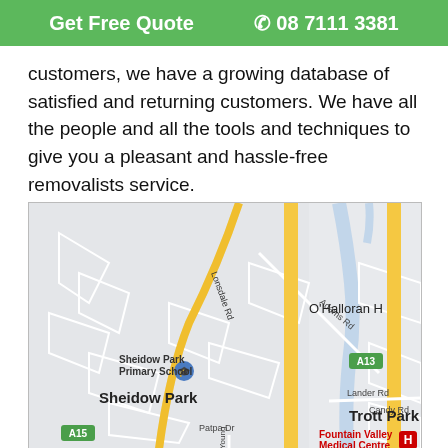Get Free Quote  📞 08 7111 3381
customers, we have a growing database of satisfied and returning customers. We have all the people and all the tools and techniques to give you a pleasant and hassle-free removalists service.
[Figure (map): Google Maps showing Sheidow Park, Trott Park, O'Halloran Hill area in Adelaide, South Australia, with roads including Lonsdale Rd, Adams Rd, Lander Rd, Candy Rd, Patpa Dr, and highway markers A13 and A15. Sheidow Park Primary School and Fountain Valley Medical Centre are labeled.]